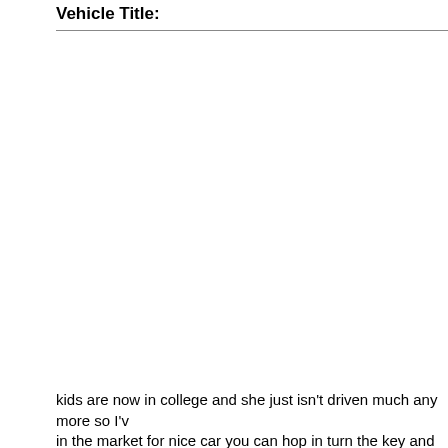Vehicle Title:
kids are now in college and she just isn't driven much any more so I'v in the market for nice car you can hop in turn the key and drive witho few bugs in the grill this car might be for you. Engine,Trans,Rearend- 213ci. flat 6cyl. 3-spd. man. trans.Car has al since I've owned. Car has never seen rain or snow since I've owned. good oil pressure. Does drip a little oil after sitting for long periods of changes. Does drip a little anti-freeze from shaft packing after sitting just keep a drip pan under car and maintain fliud levels. I did have th while out driving car around or parked it's just after sittingin the gara any strange noises. I have installed new rear wheel bearings in the la original mechanical pump). Trans. and clutchshifts properly.Glass: Al crank open and closed. Glass is all good. Vent glass has some sepa ext/int lights work.GM Multi-Beam bright lightsystem works correct. A works but is unplugged to save on battery. Heater and fan work goo high quality and was most definitly professionally installed. Only defe of headliner (see photo).Carpetis clean with norips or stains. Has a w Correct black with Vermilion Red stripe. Has great gloss and you car